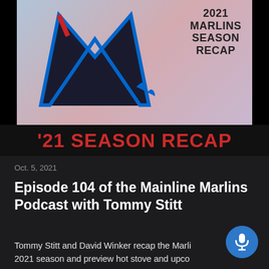[Figure (photo): Podcast episode thumbnail showing Miami Marlins logo and '2021 Marlins Season Recap' text with '21 SEASON RECAP' banner at the bottom on dark background]
Oct. 5, 2021
Episode 104 of the Mainline Marlins Podcast with Tommy Stitt
Tommy Stitt and David Winker recap the Marlins 2021 season and preview hot stove and upcoming podcast schedule. --- Send in a voi...